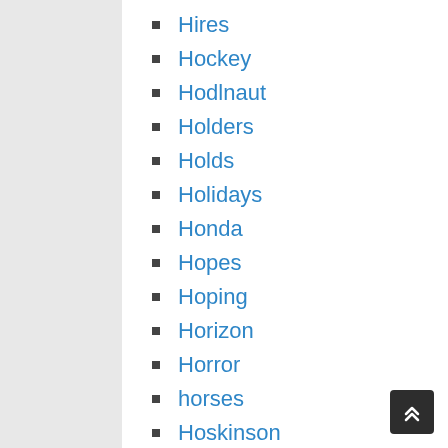Hires
Hockey
Hodlnaut
Holders
Holds
Holidays
Honda
Hopes
Hoping
Horizon
Horror
horses
Hoskinson
Hotbit
hottest